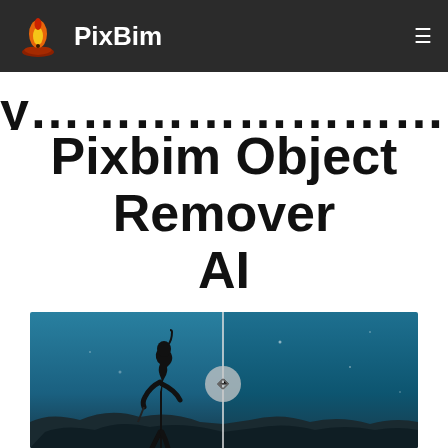PixBim
Pixbim Object Remover AI
[Figure (photo): A diver in a black wetsuit underwater against a blue ocean background, with a before/after slider comparison showing object removal]